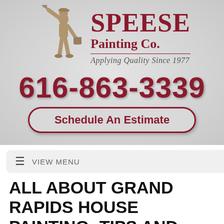[Figure (logo): Speese Painting Co. logo with silhouette of painter and text: SPEESE Painting Co., Applying Quality Since 1977, phone number 616-863-3339, and Schedule An Estimate button]
≡  VIEW MENU
ALL ABOUT GRAND RAPIDS HOUSE PAINTING: TIPS AND FACTS